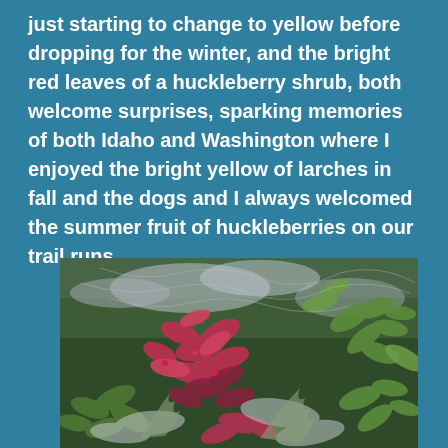just starting to change to yellow before dropping for the winter, and the bright red leaves of a huckleberry shrub, both welcome surprises, sparking memories of both Idaho and Washington where I enjoyed the bright yellow of larches in fall and the dogs and I always welcomed the summer fruit of huckleberries on our trail runs.
[Figure (photo): A close-up photograph of forest undergrowth showing bright red and pink huckleberry shrub leaves mixed with green compound leaves and pale gray-green lichen or fern fronds on the ground.]